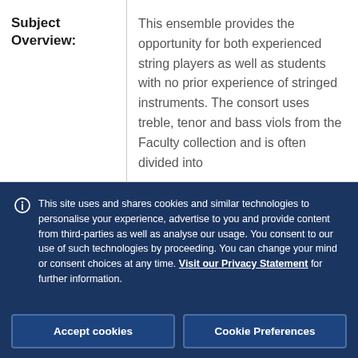| Subject Overview: | Description |
| --- | --- |
| Subject Overview: | This ensemble provides the opportunity for both experienced string players as well as students with no prior experience of stringed instruments. The consort uses treble, tenor and bass viols from the Faculty collection and is often divided into |
This site uses and shares cookies and similar technologies to personalise your experience, advertise to you and provide content from third-parties as well as analyse our usage. You consent to our use of such technologies by proceeding. You can change your mind or consent choices at any time. Visit our Privacy Statement for further information.
Accept cookies
Cookie Preferences